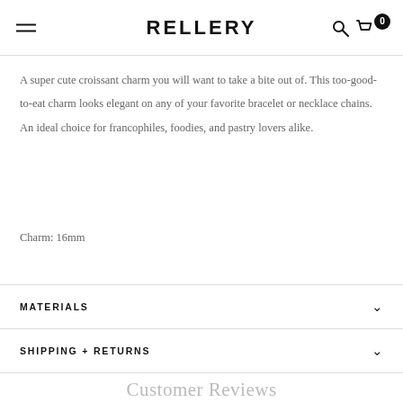RELLERY
A super cute croissant charm you will want to take a bite out of. This too-good-to-eat charm looks elegant on any of your favorite bracelet or necklace chains. An ideal choice for francophiles, foodies, and pastry lovers alike.
Charm: 16mm
MATERIALS
SHIPPING + RETURNS
Customer Reviews